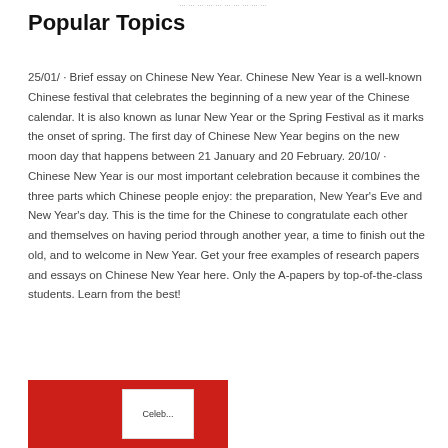Popular Topics
25/01/ · Brief essay on Chinese New Year. Chinese New Year is a well-known Chinese festival that celebrates the beginning of a new year of the Chinese calendar. It is also known as lunar New Year or the Spring Festival as it marks the onset of spring. The first day of Chinese New Year begins on the new moon day that happens between 21 January and 20 February. 20/10/ · Chinese New Year is our most important celebration because it combines the three parts which Chinese people enjoy: the preparation, New Year's Eve and New Year's day. This is the time for the Chinese to congratulate each other and themselves on having period through another year, a time to finish out the old, and to welcome in New Year. Get your free examples of research papers and essays on Chinese New Year here. Only the A-papers by top-of-the-class students. Learn from the best!
[Figure (photo): Red background image with a white card element partially visible, appearing to be a Chinese New Year themed photo]